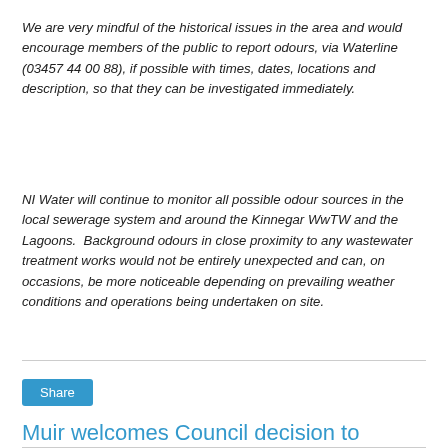We are very mindful of the historical issues in the area and would encourage members of the public to report odours, via Waterline (03457 44 00 88), if possible with times, dates, locations and description, so that they can be investigated immediately.
NI Water will continue to monitor all possible odour sources in the local sewerage system and around the Kinnegar WwTW and the Lagoons.  Background odours in close proximity to any wastewater treatment works would not be entirely unexpected and can, on occasions, be more noticeable depending on prevailing weather conditions and operations being undertaken on site.
Share
Muir welcomes Council decision to